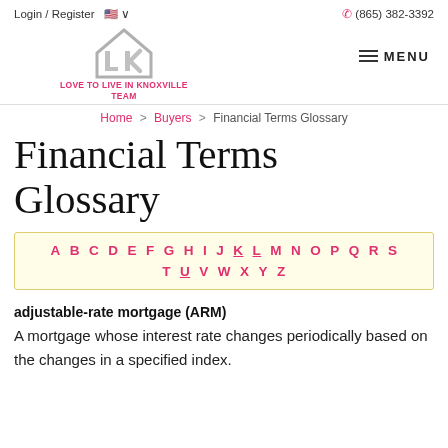Login / Register  (865) 382-3392
[Figure (logo): LK house logo with text LOVE TO LIVE IN KNOXVILLE TEAM]
Home > Buyers > Financial Terms Glossary
Financial Terms Glossary
A B C D E F G H I J K L M N O P Q R S T U V W X Y Z
adjustable-rate mortgage (ARM) A mortgage whose interest rate changes periodically based on the changes in a specified index.